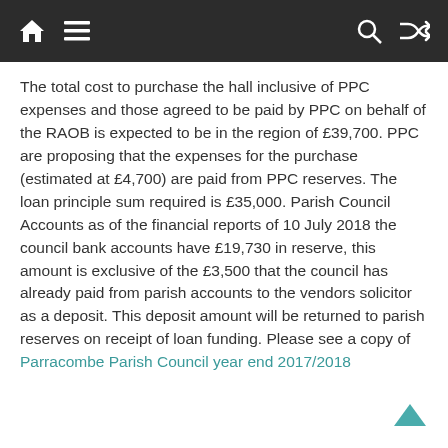Navigation bar with home, menu, search, and shuffle icons
The total cost to purchase the hall inclusive of PPC expenses and those agreed to be paid by PPC on behalf of the RAOB is expected to be in the region of £39,700. PPC are proposing that the expenses for the purchase (estimated at £4,700) are paid from PPC reserves. The loan principle sum required is £35,000. Parish Council Accounts as of the financial reports of 10 July 2018 the council bank accounts have £19,730 in reserve, this amount is exclusive of the £3,500 that the council has already paid from parish accounts to the vendors solicitor as a deposit. This deposit amount will be returned to parish reserves on receipt of loan funding. Please see a copy of Parracombe Parish Council year end 2017/2018